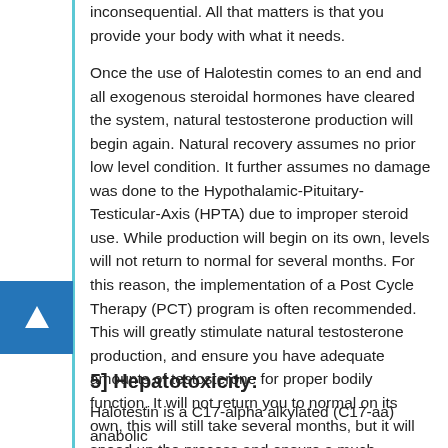inconsequential. All that matters is that you provide your body with what it needs.
Once the use of Halotestin comes to an end and all exogenous steroidal hormones have cleared the system, natural testosterone production will begin again. Natural recovery assumes no prior low level condition. It further assumes no damage was done to the Hypothalamic-Pituitary-Testicular-Axis (HPTA) due to improper steroid use. While production will begin on its own, levels will not return to normal for several months. For this reason, the implementation of a Post Cycle Therapy (PCT) program is often recommended. This will greatly stimulate natural testosterone production, and ensure you have adequate amounts of testosterone for proper bodily function. It will not return you to normal on its own, this will still take several months, but it will speed up the process and ensure a much smoother recovery.
5] Hepatotoxicity:
Halotestin is a C17-alpha alkylated (C17-aa) anabolic steroid; this haseferents to the structural changes at the